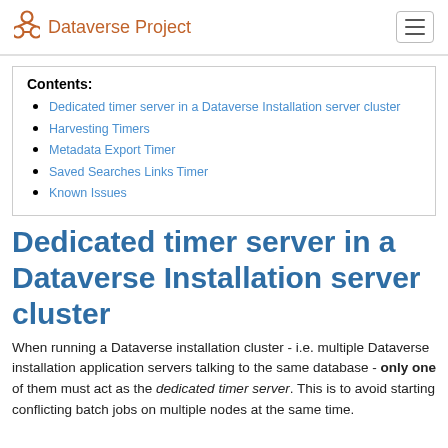Dataverse Project
Dedicated timer server in a Dataverse Installation server cluster
Harvesting Timers
Metadata Export Timer
Saved Searches Links Timer
Known Issues
Dedicated timer server in a Dataverse Installation server cluster
When running a Dataverse installation cluster - i.e. multiple Dataverse installation application servers talking to the same database - only one of them must act as the dedicated timer server. This is to avoid starting conflicting batch jobs on multiple nodes at the same time.